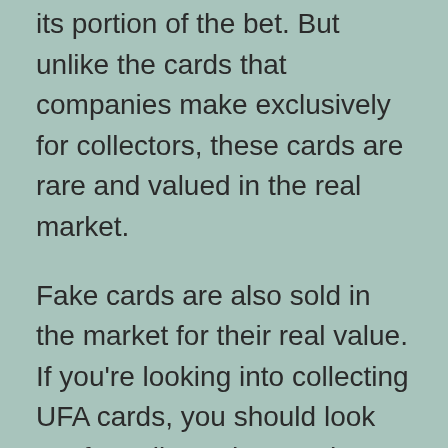its portion of the bet. But unlike the cards that companies make exclusively for collectors, these cards are rare and valued in the real market.
Fake cards are also sold in the market for their real value. If you're looking into collecting UFA cards, you should look out for sellers who say they have “a highly limited supply”. The condition of the cards may be worn or dirty, but the cards are still worth something. You can tell when someone is trying to sell you something that it's not as nice as it first looked, so if you see someone saying it has been used, you can